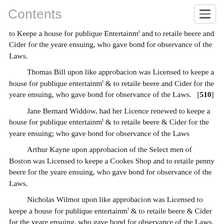Contents
to Keepe a house for publique Entertainm and to retaile beere and Cider for the yeare ensuing, who gave bond for observance of the Laws.
Thomas Bill upon like approbacion was Licensed to keepe a house for publique entertainmt & to retaile beere and Cider for the yeare ensuing, who gave bond for observance of the Laws.  [510]
Jane Bernard Widdow, had her Licence renewed to keepe a house for publique entertainmt & to retaile beere & Cider for the yeare ensuing; who gave bond for observance of the Laws
Arthur Kayne upon approbacion of the Select men of Boston was Licensed to keepe a Cookes Shop and to retaile penny beere for the yeare ensuing, who gave bond for observance of the Laws.
Nicholas Wilmot upon like approbacion was Licensed to keepe a house for publique entertainmt & to retaile beere & Cider for the yeare ensuing, who gave bond for observance of the Laws.